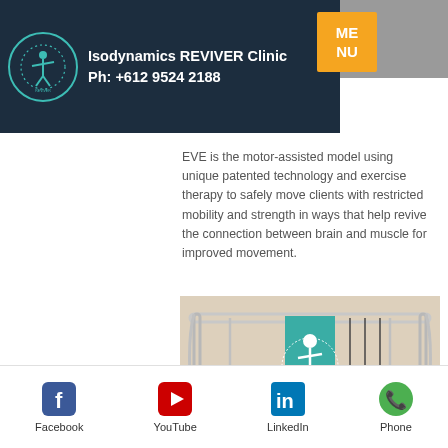Isodynamics REVIVER Clinic Ph: +612 9524 2188
EVE is the motor-assisted model using unique patented technology and exercise therapy to safely move clients with restricted mobility and strength in ways that help revive the connection between brain and muscle for improved movement.
[Figure (photo): Medical exercise equipment (EVE motor-assisted device) with chrome frame and Isodynamics branded banner, featuring hanging straps/handles]
Facebook YouTube LinkedIn Phone